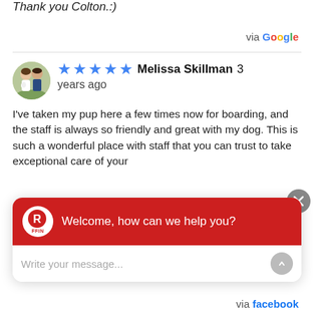Thank you Colton.:)
via Google
Melissa Skillman 3 years ago — I've taken my pup here a few times now for boarding, and the staff is always so friendly and great with my dog. This is such a wonderful place with staff that you can trust to take exceptional care of your
[Figure (screenshot): Chat widget overlay with red header saying 'Welcome, how can we help you?' and a message input field 'Write your message...']
via facebook